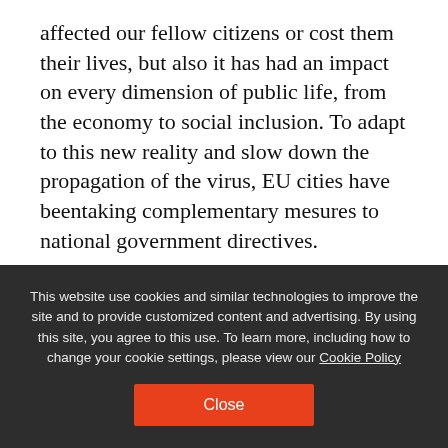affected our fellow citizens or cost them their lives, but also it has had an impact on every dimension of public life, from the economy to social inclusion. To adapt to this new reality and slow down the propagation of the virus, EU cities have beentaking complementary mesures to national government directives.
Among them, nine cities (Vic in Spain, Parnu in Estonia, Falerna in Italy, Anyksciai in Lithuania, the south-east region of Malta, Alphen aan den Rijn in the Netherlands, Loulé in Portugal, Kadona in Greece and Bradford in the UK)
This website use cookies and similar technologies to improve the site and to provide customized content and advertising. By using this site, you agree to this use. To learn more, including how to change your cookie settings, please view our Cookie Policy